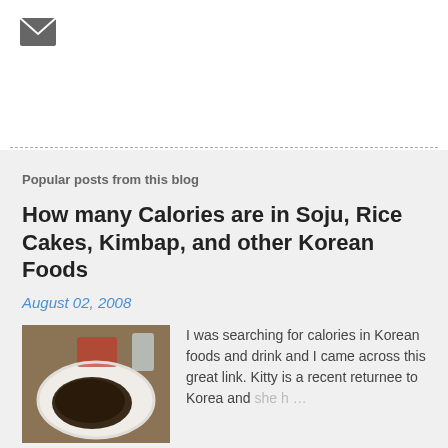[Figure (illustration): Email/mail envelope icon (dark gray)]
Popular posts from this blog
How many Calories are in Soju, Rice Cakes, Kimbap, and other Korean Foods
August 02, 2008
[Figure (photo): Photo of a Korean food dish on a white plate with side dishes in the background]
I was searching for calories in Korean foods and drink and I came across this great link. Kitty is a recent returnee to Korea and she h …
READ MORE, SEE MORE >>